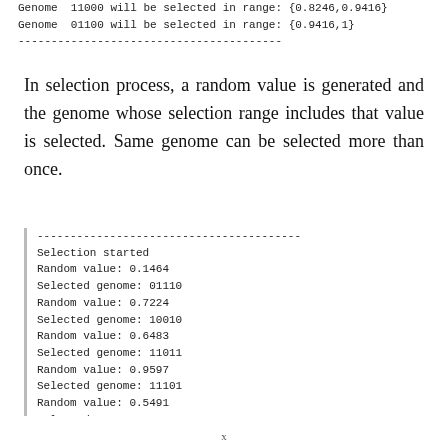Genome  11000 will be selected in range: {0.8246,0.9416}
Genome  01100 will be selected in range: {0.9416,1}
----------------------------------------
In selection process, a random value is generated and the genome whose selection range includes that value is selected. Same genome can be selected more than once.
----------------------------------------
Selection started
Random value: 0.1464
Selected genome: 01110
Random value: 0.7224
Selected genome: 10010
Random value: 0.6483
Selected genome: 11011
Random value: 0.9597
Selected genome: 11101
Random value: 0.5491
Selected genome: 11011
Random value: 0.1503
Selected genome: 01110
Random value: 0.2512
Selected genome: .....
x